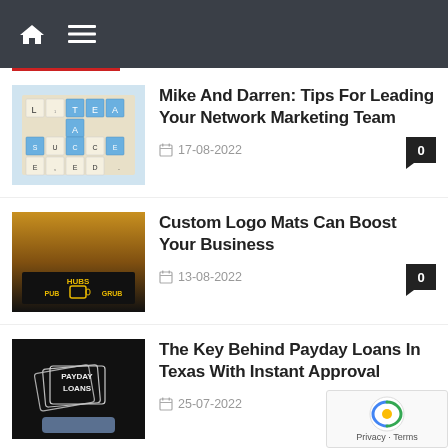Navigation header with home and menu icons
[Figure (screenshot): Scrabble tiles showing words TEAM and SUCCEED]
Mike And Darren: Tips For Leading Your Network Marketing Team
17-08-2022
[Figure (screenshot): Custom logo mat for Hubs Pub Grub]
Custom Logo Mats Can Boost Your Business
13-08-2022
[Figure (screenshot): Payday Loans sign held by person]
The Key Behind Payday Loans In Texas With Instant Approval
25-07-2022
[Figure (screenshot): Group of people — What Is Group Term Insurance partially visible]